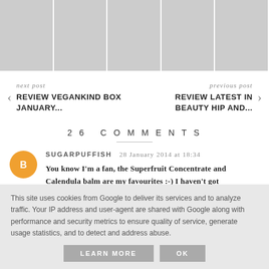[Figure (photo): Strip of 5 product/beauty images showing cosmetics and skincare products]
‹  next post  REVIEW VEGANKIND BOX JANUARY...
previous post  REVIEW LATEST IN BEAUTY HIP AND...  ›
26 COMMENTS
SUGARPUFFISH   28 January 2014 at 18:34
You know I'm a fan, the Superfruit Concentrate and Calendula balm are my favourites :-) I haven't got
This site uses cookies from Google to deliver its services and to analyze traffic. Your IP address and user-agent are shared with Google along with performance and security metrics to ensure quality of service, generate usage statistics, and to detect and address abuse.